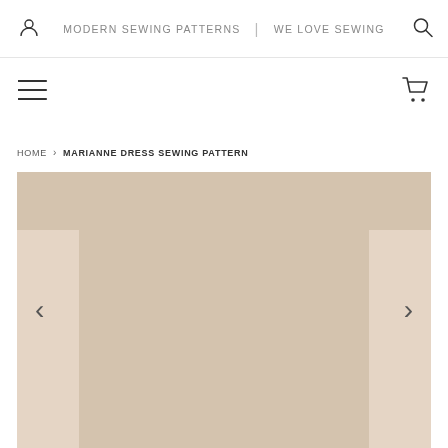MODERN SEWING PATTERNS | WE LOVE SEWING
HOME › MARIANNE DRESS SEWING PATTERN
[Figure (photo): Product image area with beige/tan background showing a sewing pattern product image placeholder. Left and right navigation arrows visible.]